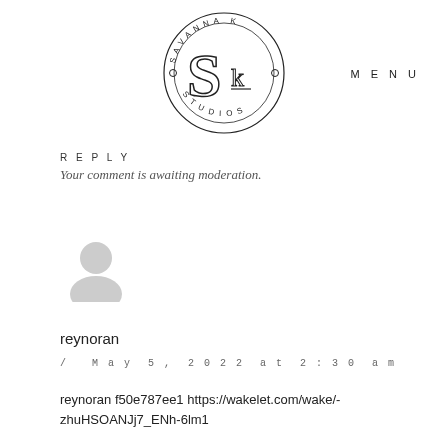[Figure (logo): Savanna K Studios circular logo with stylized SK monogram in the center, text reading SAVANNA K around top and STUDIOS around bottom]
MENU
REPLY
Your comment is awaiting moderation.
[Figure (illustration): Generic gray user avatar icon (person silhouette)]
reynoran
/ May 5, 2022 at 2:30 am
reynoran f50e787ee1 https://wakelet.com/wake/-zhuHSOANJj7_ENh-6lm1